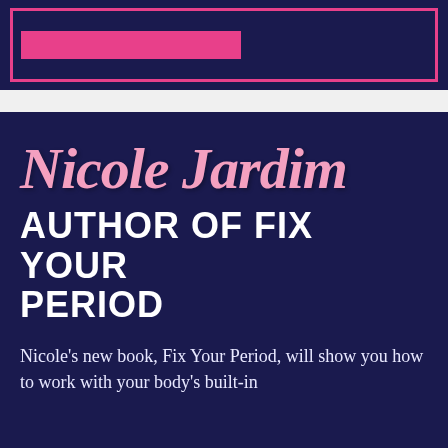[Figure (other): Top decorative banner with dark navy background, pink horizontal bar, and pink border outline box]
Nicole Jardim
AUTHOR OF FIX YOUR PERIOD
Nicole's new book, Fix Your Period, will show you how to work with your body's built-in